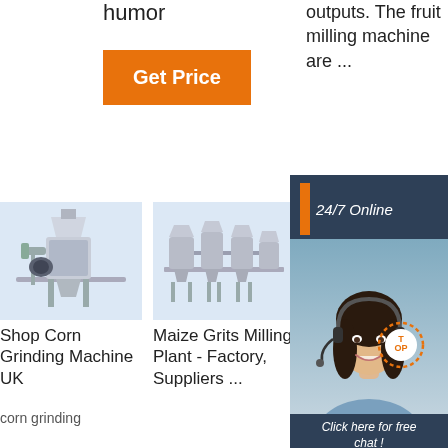humor
outputs. The fruit milling machine are ...
[Figure (other): Orange 'Get Price' button]
[Figure (other): 24/7 Online chat box with woman wearing headset, 'Click here for free chat!' text, and orange QUOTATION button]
[Figure (photo): Corn grinding machine - industrial milling equipment on light blue background]
Shop Corn Grinding Machine UK
corn grinding
[Figure (photo): Maize grits milling plant - industrial production line on light blue background]
Maize Grits Milling Plant - Factory, Suppliers ...
[Figure (photo): Grain milling machine - industrial equipment on light blue background]
Shop Grain Milling Machines UK